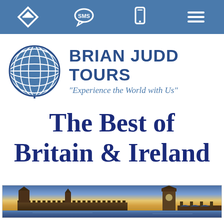Navigation bar with icons: direction arrow, SMS, mobile phone, hamburger menu
[Figure (logo): Brian Judd Tours logo with globe icon and text 'BRIAN JUDD TOURS' and tagline 'Experience the World with Us']
The Best of Britain & Ireland
[Figure (photo): Panoramic photo of the Palace of Westminster / Houses of Parliament and Big Ben along the River Thames at sunset with dramatic golden and blue sky]